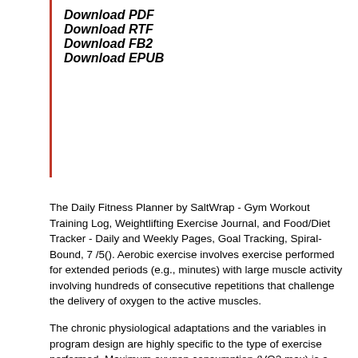Download PDF
Download RTF
Download FB2
Download EPUB
The Daily Fitness Planner by SaltWrap - Gym Workout Training Log, Weightlifting Exercise Journal, and Food/Diet Tracker - Daily and Weekly Pages, Goal Tracking, Spiral-Bound, 7 /5(). Aerobic exercise involves exercise performed for extended periods (e.g., minutes) with large muscle activity involving hundreds of consecutive repetitions that challenge the delivery of oxygen to the active muscles.
The chronic physiological adaptations and the variables in program design are highly specific to the type of exercise performed. Maximum oxygen consumption (VO2 max) is a measure of the body's capacity to use oxygen.